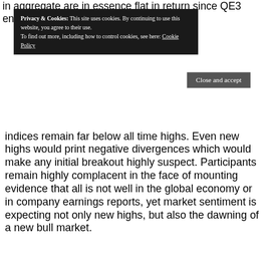in aggregate are in essence flat in return since QE3 ended
[Figure (screenshot): Cookie consent banner with dark background reading: 'Privacy & Cookies: This site uses cookies. By continuing to use this website, you agree to their use. To find out more, including how to control cookies, see here: Cookie Policy' with a 'Close and accept' button.]
indices remain far below all time highs. Even new highs would print negative divergences which would make any initial breakout highly suspect. Participants remain highly complacent in the face of mounting evidence that all is not well in the global economy or in company earnings reports, yet market sentiment is expecting not only new highs, but also the dawning of a new bull market.
The evidence presented above suggests that the bull case remains unproven as of yet.
SHARE THIS:
[Figure (infographic): Row of social sharing icon buttons: Twitter (blue), Facebook (blue), Tumblr (dark blue), LinkedIn (blue), Reddit (light grey), Email (light grey), Print (light grey)]